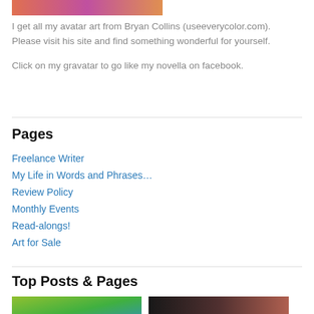[Figure (photo): Partial top image strip showing colorful avatar art]
I get all my avatar art from Bryan Collins (useeverycolor.com). Please visit his site and find something wonderful for yourself.
Click on my gravatar to go like my novella on facebook.
Pages
Freelance Writer
My Life in Words and Phrases…
Review Policy
Monthly Events
Read-alongs!
Art for Sale
Top Posts & Pages
[Figure (photo): Bottom left thumbnail image - green/teal colored illustration]
[Figure (photo): Bottom right thumbnail image - dark toned photo]